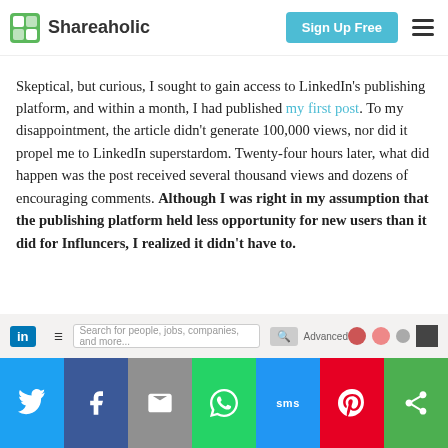Shareaholic — Sign Up Free
Skeptical, but curious, I sought to gain access to LinkedIn's publishing platform, and within a month, I had published my first post. To my disappointment, the article didn't generate 100,000 views, nor did it propel me to LinkedIn superstardom. Twenty-four hours later, what did happen was the post received several thousand views and dozens of encouraging comments. Although I was right in my assumption that the publishing platform held less opportunity for new users than it did for Influncers, I realized it didn't have to.
[Figure (screenshot): LinkedIn website header/navigation bar screenshot]
Share buttons: Twitter, Facebook, Email, WhatsApp, SMS, Pinterest, More